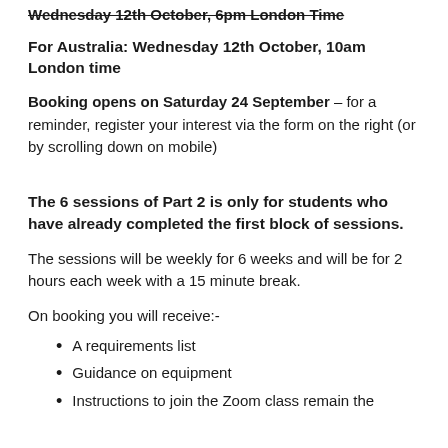Wednesday 12th October, 6pm London Time
For Australia: Wednesday 12th October, 10am London time
Booking opens on Saturday 24 September – for a reminder, register your interest via the form on the right (or by scrolling down on mobile)
The 6 sessions of Part 2 is only for students who have already completed the first block of sessions.
The sessions will be weekly for 6 weeks and will be for 2 hours each week with a 15 minute break.
On booking you will receive:-
A requirements list
Guidance on equipment
Instructions to join the Zoom class remain the